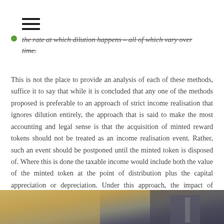the rate at which dilution happens – all of which vary over time.
This is not the place to provide an analysis of each of these methods, suffice it to say that while it is concluded that any one of the methods proposed is preferable to an approach of strict income realisation that ignores dilution entirely, the approach that is said to make the most accounting and legal sense is that the acquisition of minted reward tokens should not be treated as an income realisation event. Rather, such an event should be postponed until the minted token is disposed of. Where this is done the taxable income would include both the value of the minted token at the point of distribution plus the capital appreciation or depreciation. Under this approach, the impact of dilution would be priced into the change in capital value.
[Figure (photo): Partial view of a person or people in formal/business attire, cropped at bottom of page]